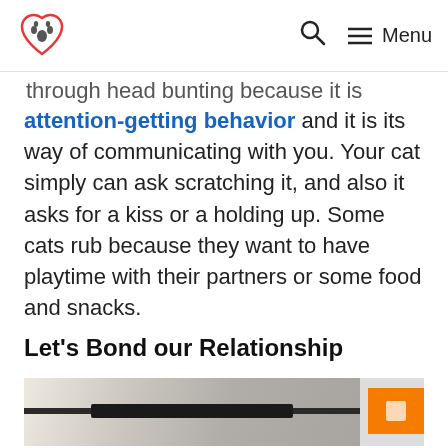Menu
through head bunting because it is attention-getting behavior and it is its way of communicating with you. Your cat simply can ask scratching it, and also it asks for a kiss or a holding up. Some cats rub because they want to have playtime with their partners or some food and snacks.
Let's Bond our Relationship
[Figure (photo): Partial photo showing a person or scene, with an orange overlay element in the corner]